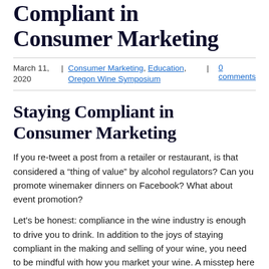Compliant in Consumer Marketing
March 11, 2020 | Consumer Marketing, Education, Oregon Wine Symposium | 0 comments
Staying Compliant in Consumer Marketing
If you re-tweet a post from a retailer or restaurant, is that considered a “thing of value” by alcohol regulators? Can you promote winemaker dinners on Facebook? What about event promotion?
Let’s be honest: compliance in the wine industry is enough to drive you to drink. In addition to the joys of staying compliant in the making and selling of your wine, you need to be mindful with how you market your wine. A misstep here can be costly… not to